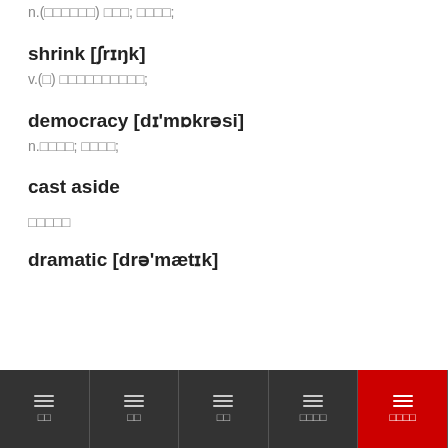n.(□□□□□□) □□□; □□□□;
shrink [ʃrɪŋk]
v.(□) □□□□□□□□□□;
democracy [dɪ'mɒkrəsi]
n.□□□□; □□□□;
cast aside
□□□□□
dramatic [drə'mætɪk]
□□ □□ □□ □□□□ □□□□